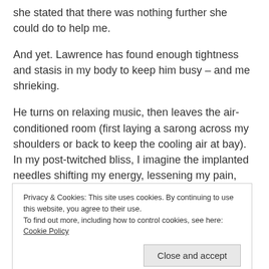she stated that there was nothing further she could do to help me.
And yet. Lawrence has found enough tightness and stasis in my body to keep him busy – and me shrieking.
He turns on relaxing music, then leaves the air-conditioned room (first laying a sarong across my shoulders or back to keep the cooling air at bay). In my post-twitched bliss, I imagine the implanted needles shifting my energy, lessening my pain,
Privacy & Cookies: This site uses cookies. By continuing to use this website, you agree to their use.
To find out more, including how to control cookies, see here: Cookie Policy
Close and accept
habit. Post on